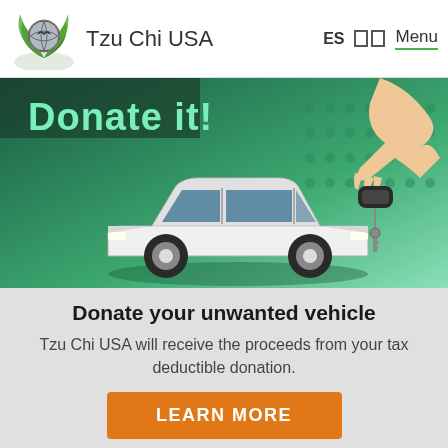Tzu Chi USA  ES  Menu
[Figure (illustration): Banner showing a white car on a green gradient background with 'Donate it!' text in green, and a hand holding car keys on the right side.]
Donate your unwanted vehicle
Tzu Chi USA will receive the proceeds from your tax deductible donation.
LEARN MORE